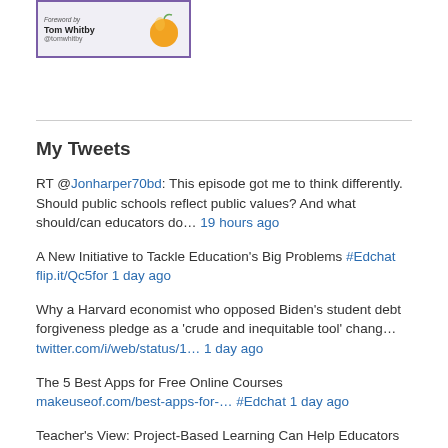[Figure (illustration): Book cover thumbnail showing author name Tom Whitby and handle @tomwhitby, with an apple illustration, bordered in purple]
My Tweets
RT @Jonharper70bd: This episode got me to think differently. Should public schools reflect public values? And what should/can educators do… 19 hours ago
A New Initiative to Tackle Education's Big Problems #Edchat flip.it/Qc5for 1 day ago
Why a Harvard economist who opposed Biden's student debt forgiveness pledge as a 'crude and inequitable tool' chang… twitter.com/i/web/status/1… 1 day ago
The 5 Best Apps for Free Online Courses makeuseof.com/best-apps-for-… #Edchat 1 day ago
Teacher's View: Project-Based Learning Can Help Educators and Students Succeed @The74 the74million.org/article/teache… #Edchat